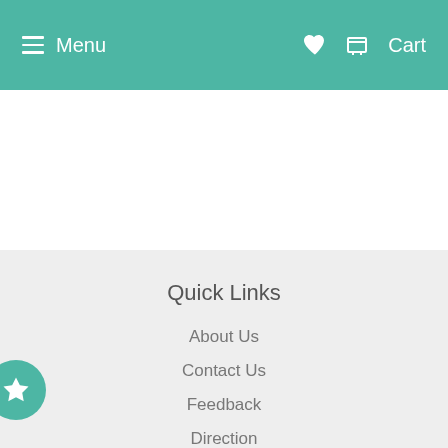Menu  Cart
Quick Links
About Us
Contact Us
Feedback
Direction
Policies
Giftcards
The California Proposition 65 Warning